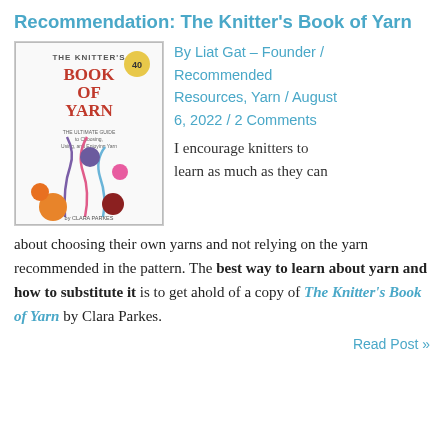Recommendation: The Knitter's Book of Yarn
By Liat Gat – Founder / Recommended Resources, Yarn / August 6, 2022 / 2 Comments
[Figure (photo): Book cover of The Knitter's Book of Yarn showing colorful yarn balls on stems against a white background with red title text]
I encourage knitters to learn as much as they can about choosing their own yarns and not relying on the yarn recommended in the pattern. The best way to learn about yarn and how to substitute it is to get ahold of a copy of The Knitter's Book of Yarn by Clara Parkes.
Read Post »